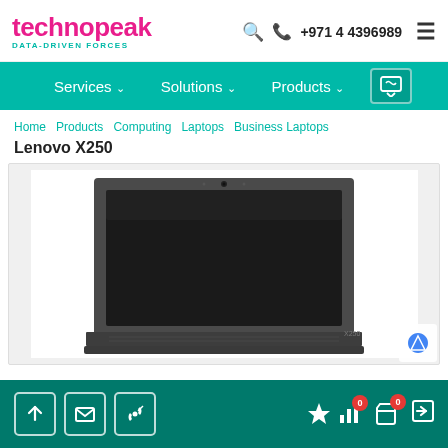technopeak DATA-DRIVEN FORCES | +971 4 4396989
Services ∨  Solutions ∨  Products ∨
Home  Products  Computing  Laptops  Business Laptops
Lenovo X250
[Figure (photo): Lenovo X250 laptop shown from the front, screen open with a dark/black display, dark grey body, webcam visible at top of screen bezel]
Footer navigation bar with upload, email, phone icons on left; flash, chart, cart (0), cart (0), and arrow icons on right